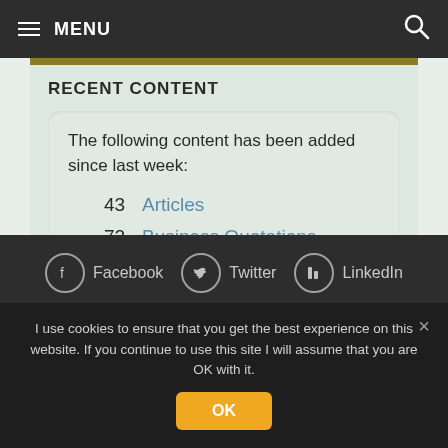≡ MENU
RECENT CONTENT
The following content has been added since last week:
43  Articles
72  Business Quotations
Facebook  Twitter  LinkedIn  RSS
I use cookies to ensure that you get the best experience on this website. If you continue to use this site I will assume that you are OK with it.